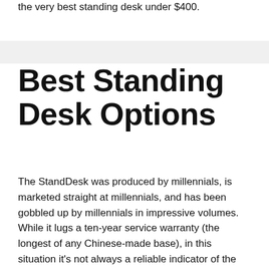the very best standing desk under $400.
Best Standing Desk Options
The StandDesk was produced by millennials, is marketed straight at millennials, and has been gobbled up by millennials in impressive volumes. While it lugs a ten-year service warranty (the longest of any Chinese-made base), in this situation it’s not always a reliable indicator of the expected helpful life of the training columns. But also for the rate, the StandDesk is a great buy — a continuation